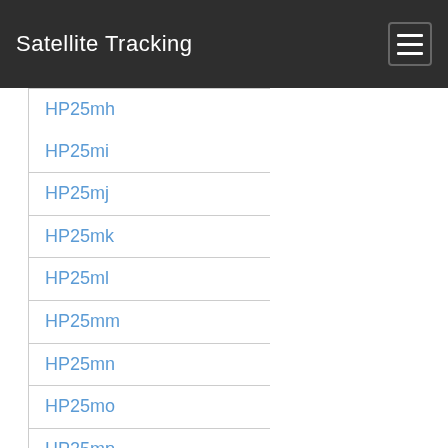Satellite Tracking
HP25mh
HP25mi
HP25mj
HP25mk
HP25ml
HP25mm
HP25mn
HP25mo
HP25mp
HP25mq
HP25mr
HP25ms
HP25mt
HP25mu
HP25mv
HP25mw
HP25mx
HP25na